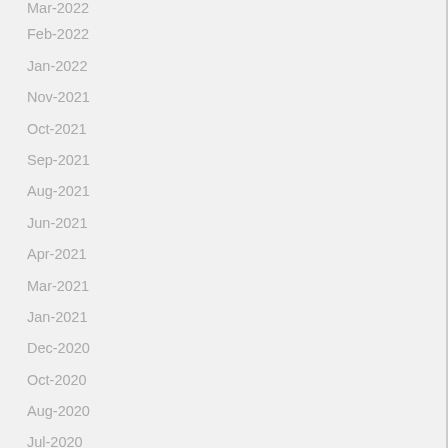Mar-2022
Feb-2022
Jan-2022
Nov-2021
Oct-2021
Sep-2021
Aug-2021
Jun-2021
Apr-2021
Mar-2021
Jan-2021
Dec-2020
Oct-2020
Aug-2020
Jul-2020
May-2020
Apr-2020
Feb-2020
Jan-2020